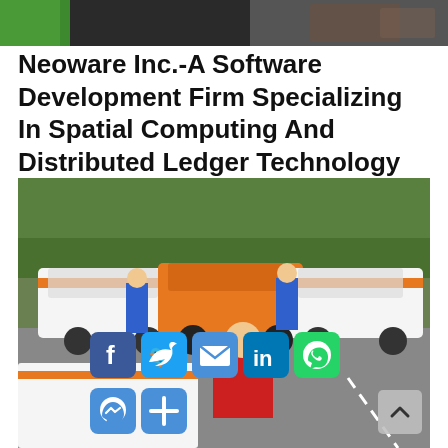[Figure (photo): Partial top photo showing hands and a green background strip]
Neoware Inc.-A Software Development Firm Specializing In Spatial Computing And Distributed Ledger Technology
[Figure (photo): Group of people standing next to orange and white branded Ford Escape vehicles in a parking lot. A woman in a red jacket stands in the foreground. Social media share icons overlaid on the bottom portion of the image.]